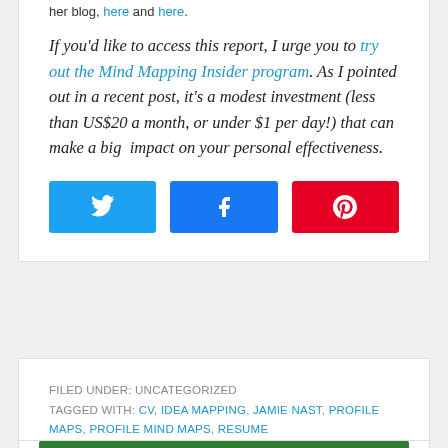her blog, here and here.
If you'd like to access this report, I urge you to try out the Mind Mapping Insider program. As I pointed out in a recent post, it's a modest investment (less than US$20 a month, or under $1 per day!) that can make a big impact on your personal effectiveness.
[Figure (other): Three social share buttons: Twitter (blue), Facebook (dark blue), Pinterest (red)]
FILED UNDER: UNCATEGORIZED
TAGGED WITH: CV, IDEA MAPPING, JAMIE NAST, PROFILE MAPS, PROFILE MIND MAPS, RESUME